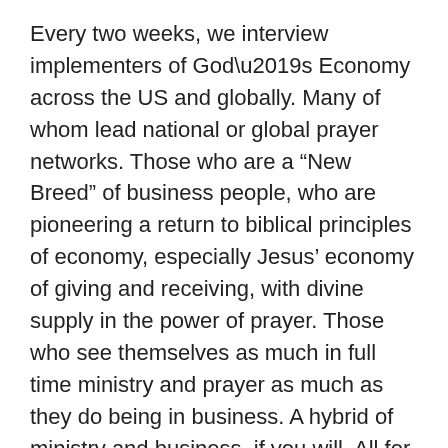Every two weeks, we interview implementers of God’s Economy across the US and globally. Many of whom lead national or global prayer networks. Those who are a “New Breed” of business people, who are pioneering a return to biblical principles of economy, especially Jesus’ economy of giving and receiving, with divine supply in the power of prayer. Those who see themselves as much in full time ministry and prayer as much as they do being in business. A hybrid of ministry and business, if you will. All for God’s glory.
This Wednesday, October 14th, we interview Lucienne Sawyer, founder of Rea’ International, along with her team. They are unique in that they are a listening prayer network, yet also focus on Kingdom resources and finance. They have studied the world’s trade patterns and